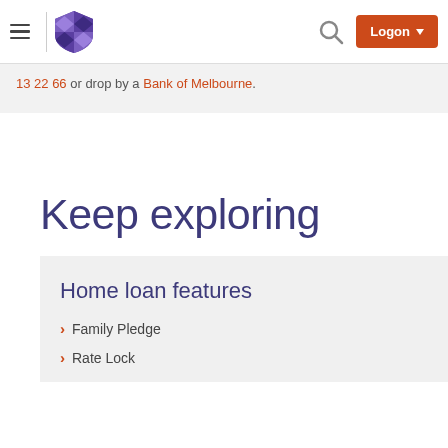Bank of Melbourne navigation bar with hamburger menu, logo, search icon, and Logon button
13 22 66 or drop by a Bank of Melbourne.
Keep exploring
Home loan features
Family Pledge
Rate Lock